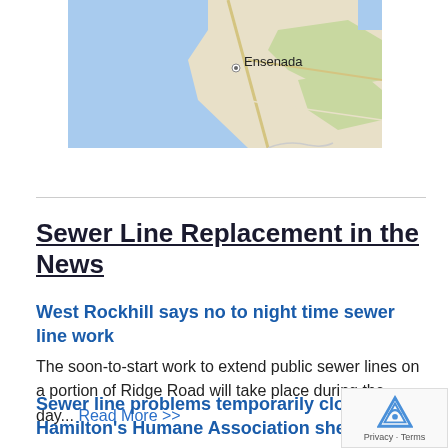[Figure (map): Google Maps screenshot showing coast near Ensenada, with blue water on left and land/roads on right. 'Ensenada' label with location pin visible.]
Sewer Line Replacement in the News
West Rockhill says no to night time sewer line work
The soon-to-start work to extend public sewer lines on a portion of Ridge Road will take place during the day... Read More >>
Sewer line problems temporarily close Hamilton's Humane Association shelter
Despite having to close its doors the public sinc...